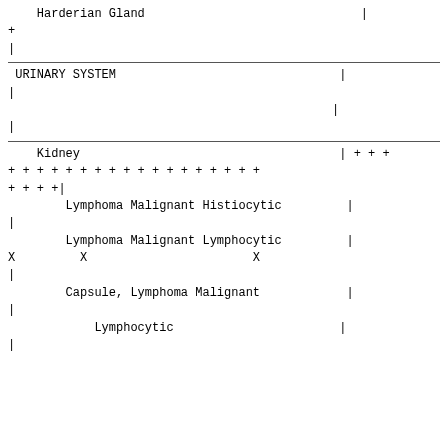|     Harderian Gland | | |
| + |  |
| | |  |
|  |  |
| URINARY SYSTEM | | |
| | |  |
|  | | |
| | |  |
|  |  |
|     Kidney | | + + + |
| + + + + + + + + + + + + + + + | + + + |
| + + + +| |  |
|         Lymphoma Malignant Histiocytic | | |
| | |  |
|         Lymphoma Malignant Lymphocytic | | |
| X         X                       X |  |
| | |  |
|         Capsule, Lymphoma Malignant | | |
| | |  |
|             Lymphocytic | | |
| | |  |